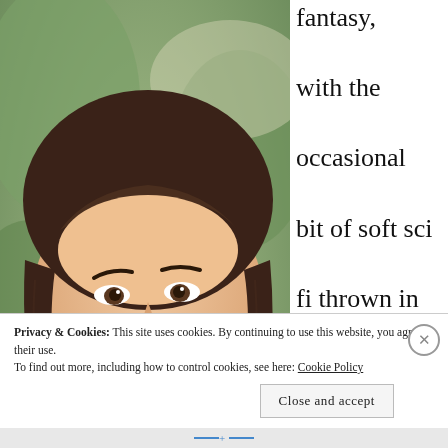[Figure (photo): Smiling woman with short brown hair wearing a grey top, photographed from slightly above in an outdoor setting with green foliage in background.]
fantasy, with the occasional bit of soft sci fi thrown in for good measure. Even when I'm not working on
Privacy & Cookies: This site uses cookies. By continuing to use this website, you agree to their use.
To find out more, including how to control cookies, see here: Cookie Policy
Close and accept